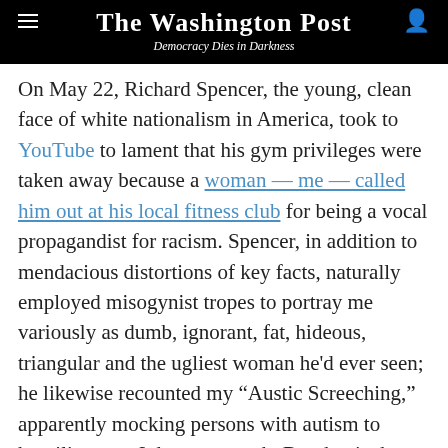The Washington Post — Democracy Dies in Darkness
On May 22, Richard Spencer, the young, clean face of white nationalism in America, took to YouTube to lament that his gym privileges were taken away because a woman — me — called him out at his local fitness club for being a vocal propagandist for racism. Spencer, in addition to mendacious distortions of key facts, naturally employed misogynist tropes to portray me variously as dumb, ignorant, fat, hideous, triangular and the ugliest woman he'd ever seen; he likewise recounted my “Austic Screeching,” apparently mocking persons with autism to humiliate me. I do not screech. But that is the vernacular with which Spencer describes female protest.